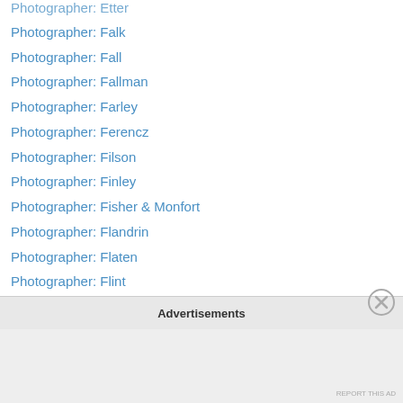Photographer: Etter
Photographer: Falk
Photographer: Fall
Photographer: Fallman
Photographer: Farley
Photographer: Ferencz
Photographer: Filson
Photographer: Finley
Photographer: Fisher & Monfort
Photographer: Flandrin
Photographer: Flaten
Photographer: Flint
Photographer: Flodin & Thyberg
Photographer: Foss
Photographer: Foulsham & Banfield
Photographer: Foulsham & Barfield
Photographer: Fowler (A. R.)
Advertisements
REPORT THIS AD